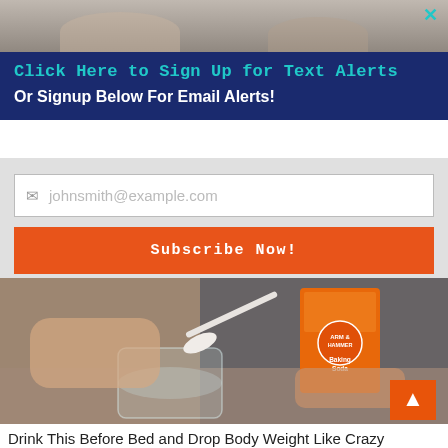[Figure (photo): Top partial photo of a person, partially cropped, with a close/X button at top right corner]
Click Here to Sign Up for Text Alerts
Or Signup Below For Email Alerts!
johnsmith@example.com
Subscribe Now!
[Figure (photo): Person's hands scooping baking soda with a white spoon from an Arm & Hammer Baking Soda box into a glass jar with measurement markings]
Drink This Before Bed and Drop Body Weight Like Crazy